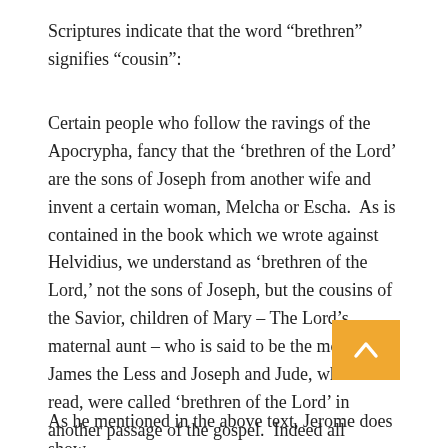Scriptures indicate that the word “brethren” signifies “cousin”:
Certain people who follow the ravings of the Apocrypha, fancy that the ‘brethren of the Lord’ are the sons of Joseph from another wife and invent a certain woman, Melcha or Escha.  As is contained in the book which we wrote against Helvidius, we understand as ‘brethren of the Lord,’ not the sons of Joseph, but the cousins of the Savior, children of Mary – The Lord’s maternal aunt – who is said to be the mother of James the Less and Joseph and Jude, who as we read, were called ‘brethren of the Lord’ in another passage of the gospel.  Indeed all Scripture indicates that ‘cousins’ are called ‘brethren.’35
As he mentioned in the above text, Jerome does show